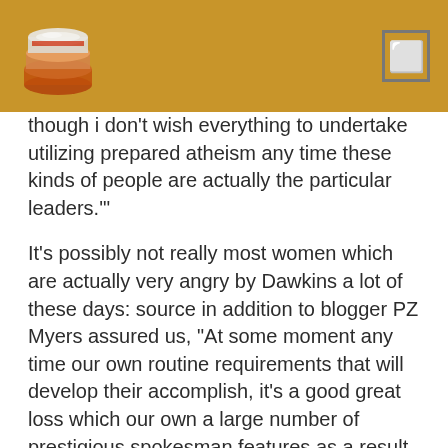[Figure (logo): Stylized stack/database logo in silver and red on golden-tan header bar]
though i don't wish everything to undertake utilizing prepared atheism any time these kinds of people are actually the particular leaders.'"
It's possibly not really most women which are actually very angry by Dawkins a lot of these days: source in addition to blogger PZ Myers assured us, "At some moment any time our own routine requirements that will develop their accomplish, it's a good great loss which our own a large number of prestigious spokesman features as a result swiftly said this sort of a good regressive attitude."
What's and so irritating, through all the view for typically the significant not to mention thriving non-religious demographic, can be that will Dawkins is not being able poorly in order to survive upwards for you to his particular have specifications.